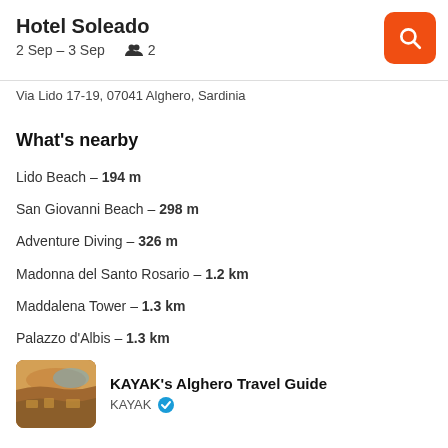Hotel Soleado
2 Sep – 3 Sep   👥 2
Via Lido 17-19, 07041 Alghero, Sardinia
What's nearby
Lido Beach – 194 m
San Giovanni Beach – 298 m
Adventure Diving – 326 m
Madonna del Santo Rosario – 1.2 km
Maddalena Tower – 1.3 km
Palazzo d'Albis – 1.3 km
[Figure (photo): Aerial photo of Alghero coastal area with orange/brown tones, used as thumbnail for KAYAK's Alghero Travel Guide]
KAYAK's Alghero Travel Guide
KAYAK ✓